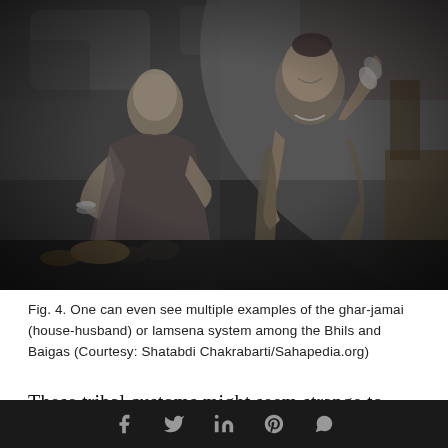[Figure (photo): Black and white photograph of two tribal women sitting on the floor inside a dwelling. The women are wearing traditional clothing and jewelry. One woman is smiling and looking upward, the other is seated beside her. Both have tattoos visible on their arms and bodies.]
Fig. 4. One can even see multiple examples of the ghar-jamai (house-husband) or lamsena system among the Bhils and Baigas (Courtesy: Shatabdi Chakrabarti/Sahapedia.org)
These tribal customs might seem strange to
Social media share icons: Facebook, Twitter, LinkedIn, Pinterest, WhatsApp